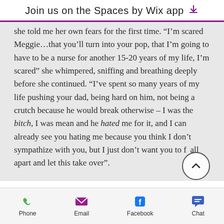Join us on the Spaces by Wix app
she told me her own fears for the first time. “I’m scared Meggie…that you’ll turn into your pop, that I’m going to have to be a nurse for another 15-20 years of my life, I’m scared” she whimpered, sniffing and breathing deeply before she continued. “I’ve spent so many years of my life pushing your dad, being hard on him, not being a crutch because he would break otherwise – I was the bitch, I was mean and he hated me for it, and I can already see you hating me because you think I don’t sympathize with you, but I just don’t want you to fall apart and let this take over”.
Phone | Email | Facebook | Chat